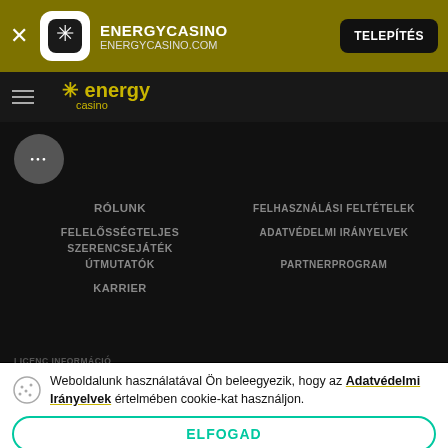[Figure (screenshot): App install banner with EnergyCasino logo, URL energycasino.com, and a 'TELEPÍTÉS' (Install) button on a dark yellow/olive background]
[Figure (logo): Energy Casino logo — star icon and text 'energy casino' in yellow/gold on dark background, with hamburger menu icon]
RÓLUNK
FELELŐSSÉGTELJES SZERENCSEJÁTÉK ÚTMUTATÓK
KARRIER
FELHASZNÁLÁSI FELTÉTELEK
ADATVÉDELMI IRÁNYELVEK
PARTNERPROGRAM
LICENC INFORMÁCIÓ
Weboldalunk használatával Ön beleegyezik, hogy az Adatvédelmi Irányelvek értelmében cookie-kat használjon.
ELFOGAD